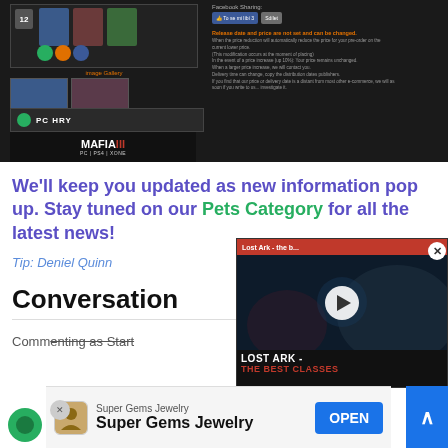[Figure (screenshot): Dark-themed e-commerce page screenshot showing image gallery with game thumbnails (The Sims), a PC HRY category bar, Mafia III banner, Facebook sharing buttons, and release date/price disclaimer text in orange and grey]
We'll keep you updated as new information pop up. Stay tuned on our Pets Category for all the latest news!
Tip: Deniel Quinn
Conversation
Commenting as Start
Login | Sign up
[Figure (screenshot): Video popup for 'Lost Ark - the b...' showing Lost Ark - The Best Classes thumbnail with play button, dark background with monsters, red title bar]
[Figure (screenshot): Advertisement banner for Super Gems Jewelry app with OPEN button]